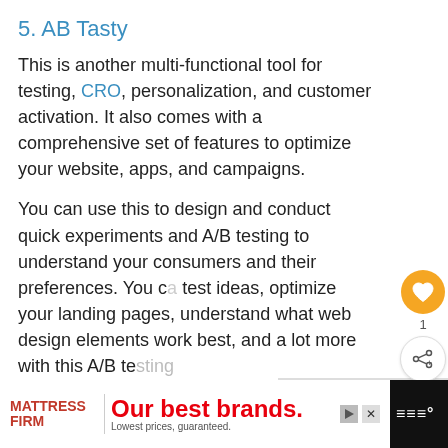5. AB Tasty
This is another multi-functional tool for testing, CRO, personalization, and customer activation. It also comes with a comprehensive set of features to optimize your website, apps, and campaigns.
You can use this to design and conduct quick experiments and A/B testing to understand your consumers and their preferences. You can test ideas, optimize your landing pages, understand what web design elements work best, and a lot more with this A/B te...
[Figure (screenshot): What's Next panel with small red thumbnail image and text 'How to Add Spaces on...']
[Figure (screenshot): Advertisement banner for Mattress Firm with tagline 'Our best brands. Lowest prices, guaranteed.']